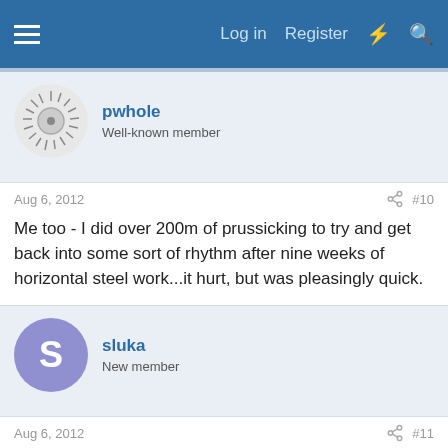Log in  Register
pwhole
Well-known member
Aug 6, 2012  #10
Me too - I did over 200m of prussicking to try and get back into some sort of rhythm after nine weeks of horizontal steel work...it hurt, but was pleasingly quick.
sluka
New member
Aug 6, 2012  #11
Drawing map of cave... Virtual caving...
paull
New member